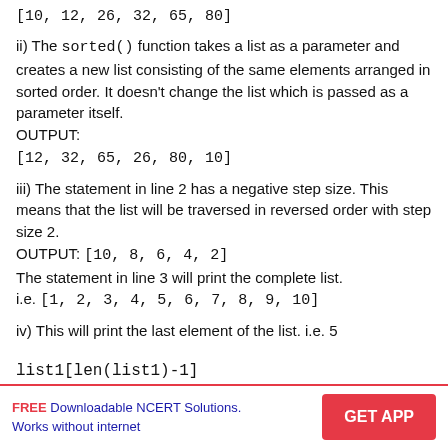[10, 12, 26, 32, 65, 80]
ii) The sorted() function takes a list as a parameter and creates a new list consisting of the same elements arranged in sorted order. It doesn't change the list which is passed as a parameter itself.
OUTPUT:
[12, 32, 65, 26, 80, 10]
iii) The statement in line 2 has a negative step size. This means that the list will be traversed in reversed order with step size 2.
OUTPUT: [10, 8, 6, 4, 2]
The statement in line 3 will print the complete list.
i.e. [1, 2, 3, 4, 5, 6, 7, 8, 9, 10]
iv) This will print the last element of the list. i.e. 5
list1[len(list1)-1]
FREE Downloadable NCERT Solutions. Works without internet | GET APP